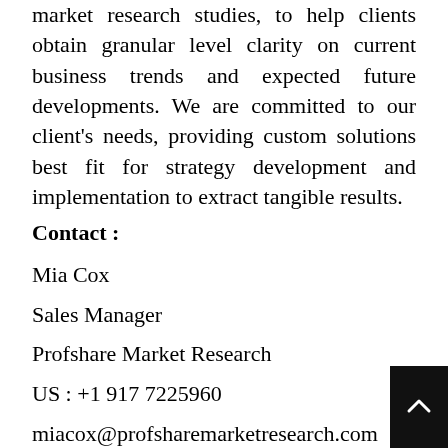market research studies, to help clients obtain granular level clarity on current business trends and expected future developments. We are committed to our client's needs, providing custom solutions best fit for strategy development and implementation to extract tangible results.
Contact :
Mia Cox
Sales Manager
Profshare Market Research
US : +1 917 7225960
miacox@profsharemarketresearch.com